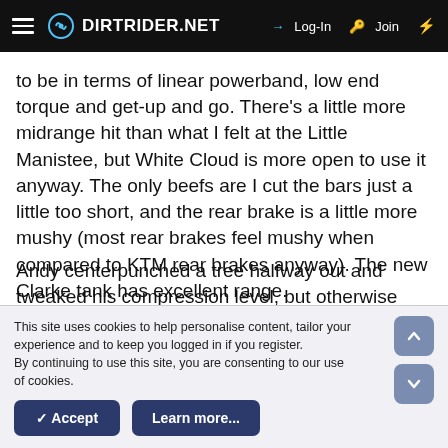DIRTRIDER.NET — Log-In | Join
to be in terms of linear powerband, low end torque and get-up and go. There's a little more midrange hit than what I felt at the Little Manistee, but White Cloud is more open to use it anyway. The only beefs are I cut the bars just a little too short, and the rear brake is a little more mushy (most rear brakes feel mushy when compared to KTM rear brakes anyway). The new Clarke tank has excellent range.
Andy centerpunched a tree halfway out and tweaked his compression level, but otherwise was OK. He's definately moving toward the MX crowd.
This site uses cookies to help personalise content, tailor your experience and to keep you logged in if you register.
By continuing to use this site, you are consenting to our use of cookies.